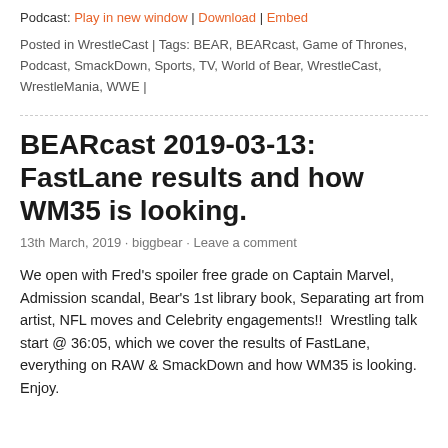Podcast: Play in new window | Download | Embed
Posted in WrestleCast | Tags: BEAR, BEARcast, Game of Thrones, Podcast, SmackDown, Sports, TV, World of Bear, WrestleCast, WrestleMania, WWE |
BEARcast 2019-03-13: FastLane results and how WM35 is looking.
13th March, 2019 · biggbear · Leave a comment
We open with Fred's spoiler free grade on Captain Marvel, Admission scandal, Bear's 1st library book, Separating art from artist, NFL moves and Celebrity engagements!!  Wrestling talk start @ 36:05, which we cover the results of FastLane, everything on RAW & SmackDown and how WM35 is looking. Enjoy.